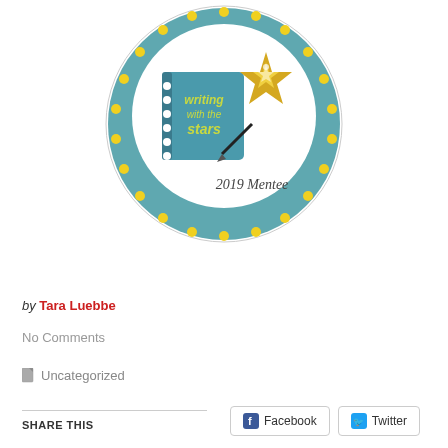[Figure (logo): Circular badge for 'Writing with the Stars 2019 Mentee' — teal circle with yellow dot border, featuring a teal spiral notebook and a golden star wand]
by Tara Luebbe
No Comments
Uncategorized
SHARE THIS
Facebook
Twitter